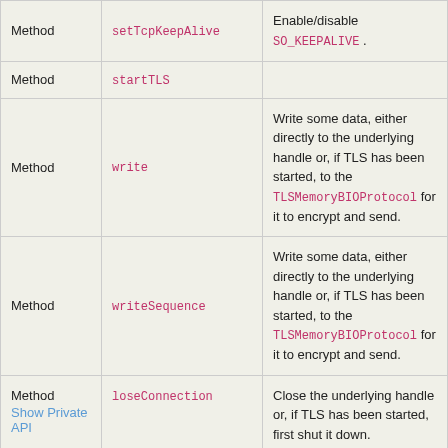|  |  |  |
| --- | --- | --- |
| Method | setTcpKeepAlive | Enable/disable SO_KEEPALIVE . |
| Method | startTLS |  |
| Method | write | Write some data, either directly to the underlying handle or, if TLS has been started, to the TLSMemoryBIOProtocol for it to encrypt and send. |
| Method | writeSequence | Write some data, either directly to the underlying handle or, if TLS has been started, to the TLSMemoryBIOProtocol for it to encrypt and send. |
| Method | loseConnection | Close the underlying handle or, if TLS has been started, first shut it down. |